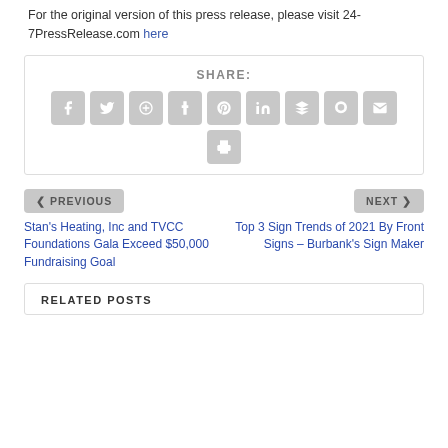For the original version of this press release, please visit 24-7PressRelease.com here
SHARE:
[Figure (infographic): Social share buttons: Facebook, Twitter, Google+, Tumblr, Pinterest, LinkedIn, Buffer, StumbleUpon, Email, Print]
< PREVIOUS
Stan's Heating, Inc and TVCC Foundations Gala Exceed $50,000 Fundraising Goal
NEXT >
Top 3 Sign Trends of 2021 By Front Signs – Burbank's Sign Maker
RELATED POSTS